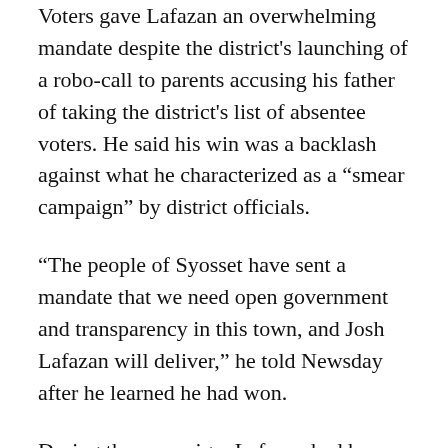Voters gave Lafazan an overwhelming mandate despite the district's launching of a robo-call to parents accusing his father of taking the district's list of absentee voters. He said his win was a backlash against what he characterized as a “smear campaign” by district officials.
“The people of Syosset have sent a mandate that we need open government and transparency in this town, and Josh Lafazan will deliver,” he told Newsday after he learned he had won.
During the campaign, Lafazan had been critical of the salary and benefits of Superintendent Carole Hankin, who is the highest paid superintendent in New York State and earns $541,000 in salary and benefits.
It’s interesting that while taxpayers and parents have decried administrative salaries and benefits in many